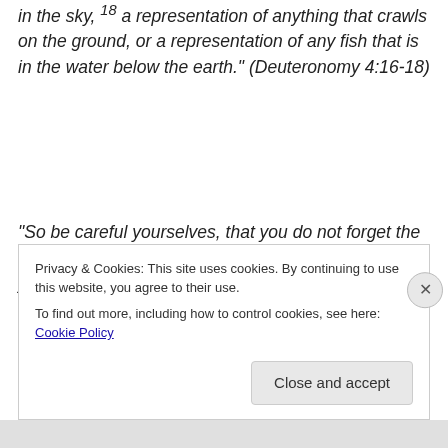in the sky, 18 a representation of anything that crawls on the ground, or a representation of any fish that is in the water below the earth." (Deuteronomy 4:16-18)
“So be careful yourselves, that you do not forget the covenant of the Lord your God which He made with you, and make for yourselves a carved image in the form of anything against which the Lord your God has
Privacy & Cookies: This site uses cookies. By continuing to use this website, you agree to their use.
To find out more, including how to control cookies, see here: Cookie Policy
Close and accept